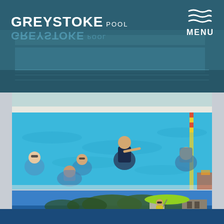GREYSTOKE POOL
MENU
[Figure (photo): Outdoor swimming pool with several swimmers including an instructor in the water on a sunny day, blue water visible]
[Figure (photo): Lifeguard sitting on elevated chair under a lime green umbrella at an outdoor pool on a sunny day with clear blue sky, trees and a stone building in the background, colorful bunting flags around the pool edge]